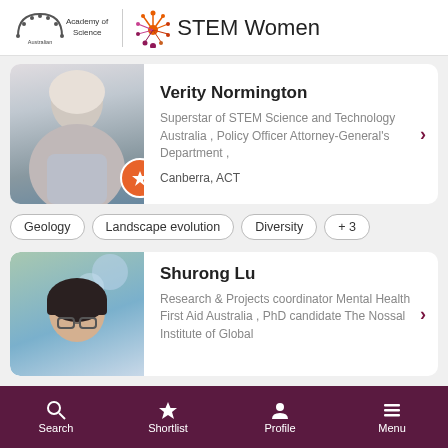[Figure (logo): Australian Academy of Science logo with arch icon and STEM Women logo with starburst graphic]
Verity Normington
Superstar of STEM Science and Technology Australia , Policy Officer Attorney-General's Department ,
Canberra, ACT
Geology
Landscape evolution
Diversity
+ 3
Shurong Lu
Research & Projects coordinator Mental Health First Aid Australia , PhD candidate The Nossal Institute of Global
Search  Shortlist  Profile  Menu